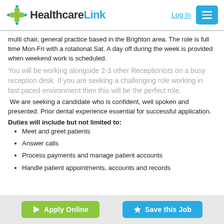HealthcareLink | Log In
multi chair, general practice based in the Brighton area. The role is full time Mon-Fri with a rotational Sat. A day off during the week is provided when weekend work is scheduled.
You will be working alongside 2-3 other Receptionists on a busy reception desk. If you are seeking a challenging role working in fast paced environment then this will be the perfect role.
We are seeking a candidate who is confident, well spoken and presented. Prior dental experience essential for successful application.
Duties will include but not limited to:
Meet and greet patients
Answer calls
Process payments and manage patient accounts
Handle patient appointments, accounts and records
Apply Online | Save this Job